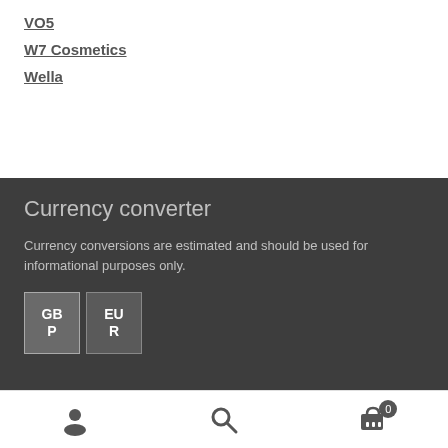VO5
W7 Cosmetics
Wella
Currency converter
Currency conversions are estimated and should be used for informational purposes only.
[Figure (other): Currency selector buttons showing GBP and EUR options]
User account icon, Search icon, Cart icon with badge 0